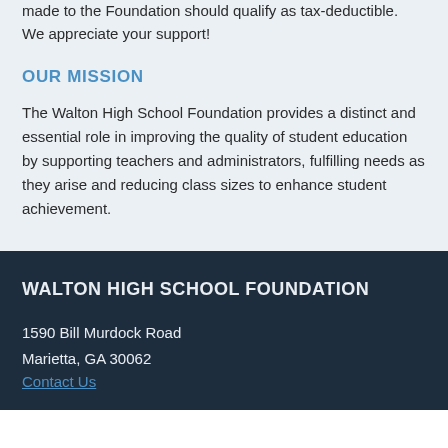made to the Foundation should qualify as tax-deductible. We appreciate your support!
OUR MISSION
The Walton High School Foundation provides a distinct and essential role in improving the quality of student education by supporting teachers and administrators, fulfilling needs as they arise and reducing class sizes to enhance student achievement.
WALTON HIGH SCHOOL FOUNDATION
1590 Bill Murdock Road
Marietta, GA 30062
Contact Us